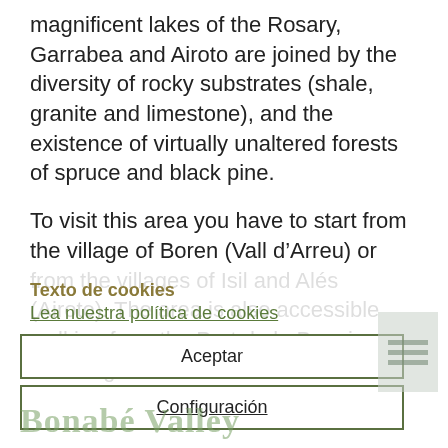magnificent lakes of the Rosary, Garrabea and Airoto are joined by the diversity of rocky substrates (shale, granite and limestone), and the existence of virtually unaltered forests of spruce and black pine.
To visit this area you have to start from the village of Boren (Vall d’Arreu) or from the villages of Isil and Alés (Airoto). The area is also accessible walking from the Port de la Bonaigua, following the route of the Alta Ruta Pirinenca (glacier).
Texto de cookies
Lea nuestra política de cookies
Aceptar
Configuración
Bonabé Valley